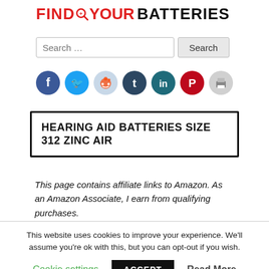FIND YOUR BATTERIES
Search ...
[Figure (infographic): Social sharing icons row: Facebook (blue), Twitter (light blue), Reddit (light gray-blue), Tumblr (dark teal), LinkedIn (dark teal), Pinterest (red), Print (light gray)]
HEARING AID BATTERIES SIZE 312 ZINC AIR
This page contains affiliate links to Amazon. As an Amazon Associate, I earn from qualifying purchases.
This website uses cookies to improve your experience. We'll assume you're ok with this, but you can opt-out if you wish. Cookie settings  ACCEPT  Read More